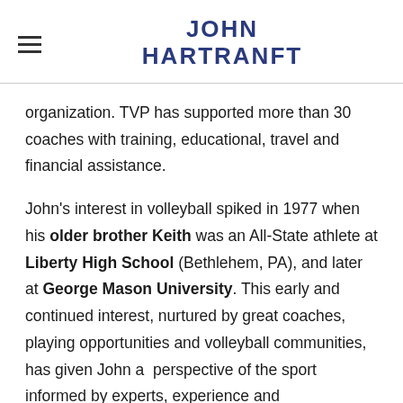JOHN HARTRANFT
organization. TVP has supported more than 30 coaches with training, educational, travel and financial assistance.
John's interest in volleyball spiked in 1977 when his older brother Keith was an All-State athlete at Liberty High School (Bethlehem, PA), and later at George Mason University. This early and continued interest, nurtured by great coaches, playing opportunities and volleyball communities, has given John a perspective of the sport informed by experts, experience and